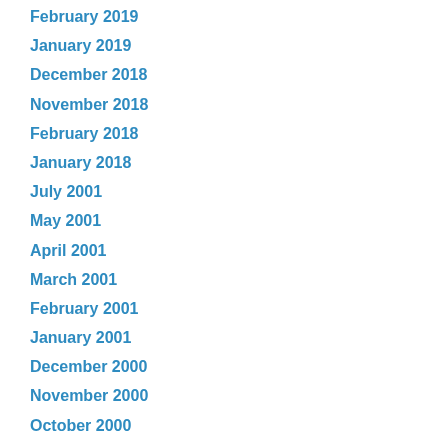February 2019
January 2019
December 2018
November 2018
February 2018
January 2018
July 2001
May 2001
April 2001
March 2001
February 2001
January 2001
December 2000
November 2000
October 2000